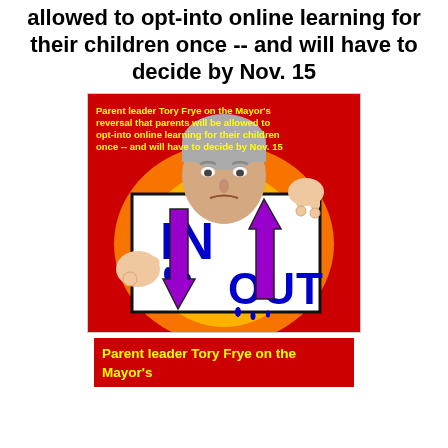allowed to opt-into online learning for their children once -- and will have to decide by Nov. 15
[Figure (illustration): Graphic with red background showing a man's face with hands holding a sign reading IN and OUT with purple arrows pointing up and down respectively. Yellow text reads: Parent leader Tory Frye on the Mayor's reversal that parents will be allowed to opt-into online learning for their children once -- and will have to decide by Nov. 15]
Parent leader Tory Frye on the Mayor's